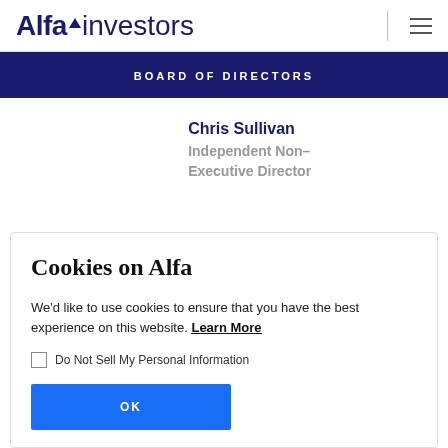Alfa investors — Board of Directors
BOARD OF DIRECTORS
Chris Sullivan
Independent Non-Executive Director
Cookies on Alfa
We'd like to use cookies to ensure that you have the best experience on this website. Learn More
Do Not Sell My Personal Information
OK